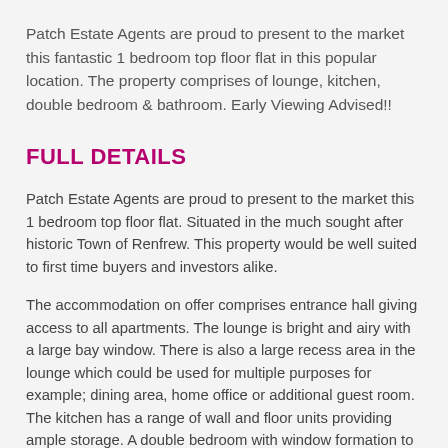Patch Estate Agents are proud to present to the market this fantastic 1 bedroom top floor flat in this popular location. The property comprises of lounge, kitchen, double bedroom & bathroom. Early Viewing Advised!!
FULL DETAILS
Patch Estate Agents are proud to present to the market this 1 bedroom top floor flat. Situated in the much sought after historic Town of Renfrew. This property would be well suited to first time buyers and investors alike.
The accommodation on offer comprises entrance hall giving access to all apartments. The lounge is bright and airy with a large bay window. There is also a large recess area in the lounge which could be used for multiple purposes for example; dining area, home office or additional guest room. The kitchen has a range of wall and floor units providing ample storage. A double bedroom with window formation to the rear and bathroom comprising a 3 piece white